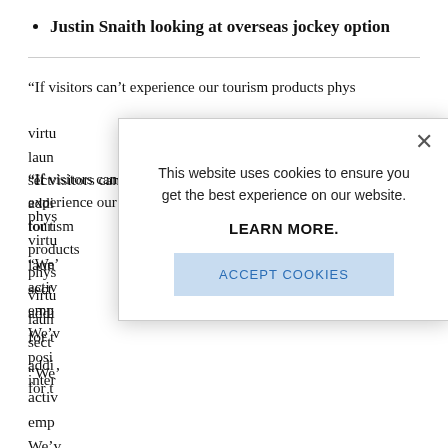Justin Snaith looking at overseas jockey option
“If visitors can’t experience our tourism products physically, then we need to give them a virtual experience.” He said the group had launched a virtual tourism offering across all sectors, not just horse racing, to provide additional revenue generating opportunities for the sector.
“We’ve been in the process of pivoting to activities that are more digital-friendly, like eSports, emphasising the online elements of racing. We’ve been developing content, we’ve been positioning our content in a way that can be interesting…
[Figure (screenshot): Cookie consent popup modal overlay on a news website. Contains text: 'This website uses cookies to ensure you get the best experience on our website.' with a 'LEARN MORE.' link in bold, an 'ACCEPT COOKIES' button, and an X close button.]